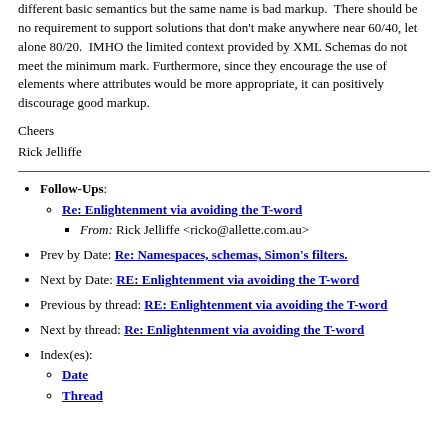different basic semantics but the same name is bad markup.  There should be no requirement to support solutions that don't make anywhere near 60/40, let alone 80/20.  IMHO the limited context provided by XML Schemas do not meet the minimum mark. Furthermore, since they encourage the use of elements where attributes would be more appropriate, it can positively discourage good markup.
Cheers
Rick Jelliffe
Follow-Ups: Re: Enlightenment via avoiding the T-word — From: Rick Jelliffe <ricko@allette.com.au>
Prev by Date: Re: Namespaces, schemas, Simon's filters.
Next by Date: RE: Enlightenment via avoiding the T-word
Previous by thread: RE: Enlightenment via avoiding the T-word
Next by thread: Re: Enlightenment via avoiding the T-word
Index(es): Date, Thread